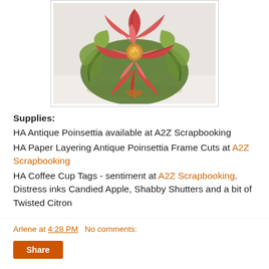[Figure (photo): A colored poinsettia flower craft/card with pink-red petals and green leaves on a white background, hand-colored illustration style]
Supplies:
HA Antique Poinsettia available at A2Z Scrapbooking
HA Paper Layering Antique Poinsettia Frame Cuts at A2Z Scrapbooking
HA Coffee Cup Tags - sentiment at A2Z Scrapbooking. Distress inks Candied Apple, Shabby Shutters and a bit of Twisted Citron
Arlene at 4:28 PM   No comments: